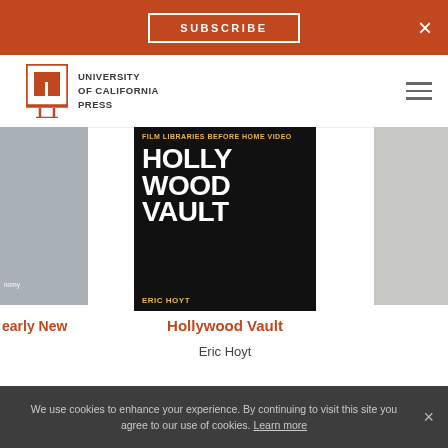SUBSCRIBE  ×
[Figure (logo): University of California Press logo with open book icon and text: UNIVERSITY of CALIFORNIA PRESS]
[Figure (photo): Book cover: Hollywood Vault - Film Libraries Before Home Video, by Eric Hoyt. Dark background with large white text.]
[Figure (photo): Partially visible book cover on left side of carousel]
[Figure (photo): Partially visible book cover on right side of carousel]
early New
Hollywood Vault
Eric Hoyt
STAY INFORMED
We use cookies to enhance your experience. By continuing to visit this site you agree to our use of cookies. Learn more